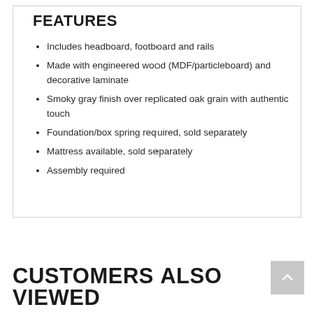FEATURES
Includes headboard, footboard and rails
Made with engineered wood (MDF/particleboard) and decorative laminate
Smoky gray finish over replicated oak grain with authentic touch
Foundation/box spring required, sold separately
Mattress available, sold separately
Assembly required
CUSTOMERS ALSO VIEWED